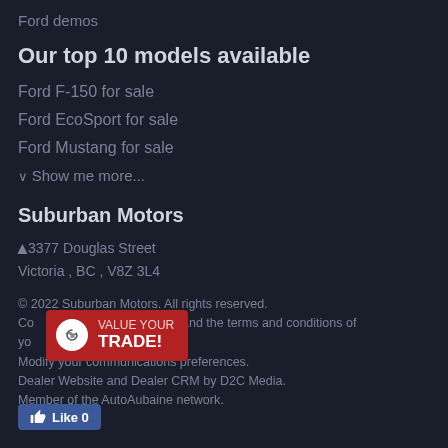Ford demos
Our top 10 models available
Ford F-150 for sale
Ford EcoSport for sale
Ford Mustang for sale
∨  Show me more...
Suburban Motors
◀ 3377 Douglas Street
Victoria , BC , V8Z 3L4
© 2022 Suburban Motors. All rights reserved.
Consent to our privacy policy and the terms and conditions of your use.
Modify your communications preferences.
Dealer Website and Dealer CRM by D2C Media.
Member of the AutoAubaine network.
[Figure (other): Red button overlay with recycle/trade icon and text: VALUE YOUR TRADE!]
[Figure (other): Facebook-style Like button showing Like 0]